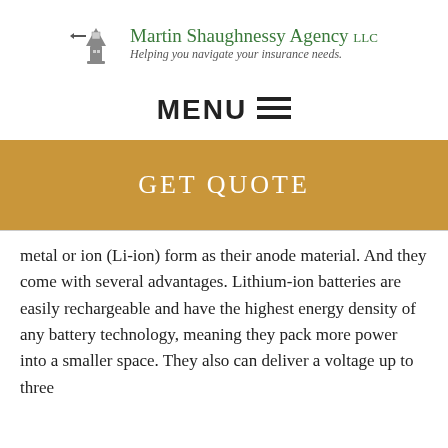[Figure (logo): Martin Shaughnessy Agency LLC logo with lighthouse icon and tagline 'Helping you navigate your insurance needs.']
MENU ☰
GET QUOTE
metal or ion (Li-ion) form as their anode material. And they come with several advantages. Lithium-ion batteries are easily rechargeable and have the highest energy density of any battery technology, meaning they pack more power into a smaller space. They also can deliver a voltage up to three